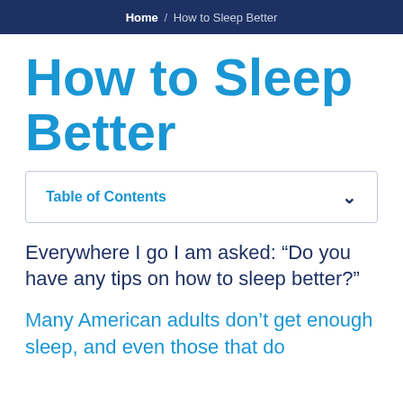Home / How to Sleep Better
How to Sleep Better
Table of Contents
Everywhere I go I am asked: “Do you have any tips on how to sleep better?”
Many American adults don’t get enough sleep, and even those that do